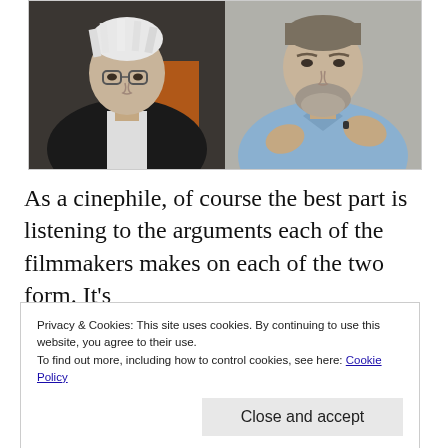[Figure (photo): Side-by-side photos of two filmmakers: on the left, a man with white spiky hair wearing a dark jacket; on the right, a man with grey beard wearing a light blue shirt and gesturing with his hands.]
As a cinephile, of course the best part is listening to the arguments each of the filmmakers makes on each of the two form. It's
Privacy & Cookies: This site uses cookies. By continuing to use this website, you agree to their use.
To find out more, including how to control cookies, see here: Cookie Policy

Close and accept
beauty of traditional film, but yet can't deny